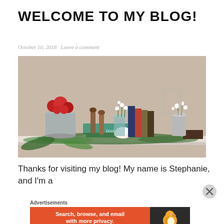WELCOME TO MY BLOG!
October 10, 2018   Leave a comment
[Figure (photo): A decorated shelf with a green 'books' tray, blue books, red flowers in a silver pail, wooden pins, white flowers in a mason jar, and a small vase with white flowers against a beige wall.]
Thanks for visiting my blog! My name is Stephanie, and I'm a
Advertisements
[Figure (other): DuckDuckGo advertisement banner: 'Search, browse, and email with more privacy. All in One Free App' with DuckDuckGo duck logo on a dark background.]